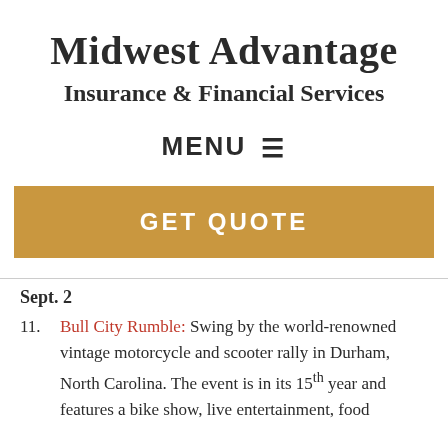Midwest Advantage
Insurance & Financial Services
MENU ≡
GET QUOTE
Sept. 2
Bull City Rumble: Swing by the world-renowned vintage motorcycle and scooter rally in Durham, North Carolina. The event is in its 15th year and features a bike show, live entertainment, food